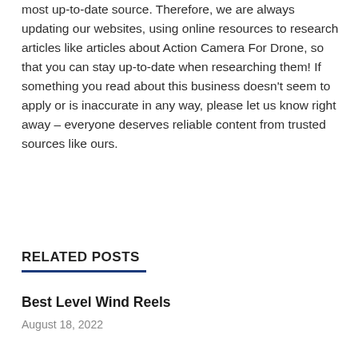most up-to-date source. Therefore, we are always updating our websites, using online resources to research articles like articles about Action Camera For Drone, so that you can stay up-to-date when researching them! If something you read about this business doesn't seem to apply or is inaccurate in any way, please let us know right away – everyone deserves reliable content from trusted sources like ours.
RELATED POSTS
Best Level Wind Reels
August 18, 2022